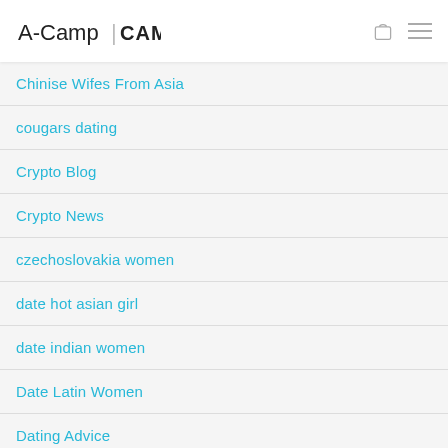A-Camp CAMPUS
Chinise Wifes From Asia
cougars dating
Crypto Blog
Crypto News
czechoslovakia women
date hot asian girl
date indian women
Date Latin Women
Dating Advice
Dating Blog
dating chinese women
Dating Review
dating site